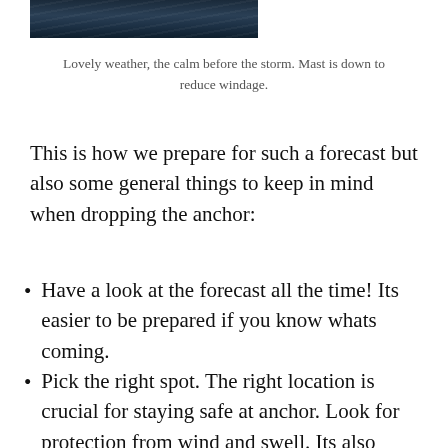[Figure (photo): Dark ocean/sea scene, likely stormy water viewed from a boat]
Lovely weather, the calm before the storm. Mast is down to reduce windage.
This is how we prepare for such a forecast but also some general things to keep in mind when dropping the anchor:
Have a look at the forecast all the time! Its easier to be prepared if you know whats coming.
Pick the right spot. The right location is crucial for staying safe at anchor. Look for protection from wind and swell. Its also